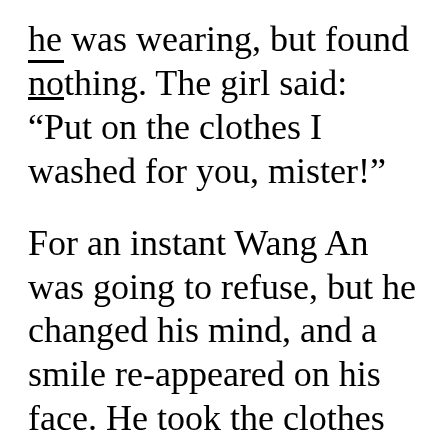he was wearing, but found nothing. The girl said: “Put on the clothes I washed for you, mister!”
For an instant Wang An was going to refuse, but he changed his mind, and a smile re-appeared on his face. He took the clothes and said: “Go outside while I change.”